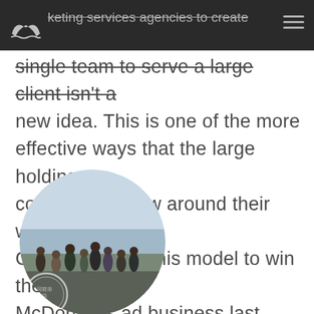keting services agencies to create single team to serve a large client isn't a new idea.
single team to serve a large client isn't a new idea. This is one of the more effective ways that the large holding companies throw around their weight. Omnicom used this model to win the McDonald's ad business last year. WPP won the ...more
[Figure (photo): Circular cropped group photo of people standing outdoors near water, with a circular stamp/logo visible at the bottom left of the image]